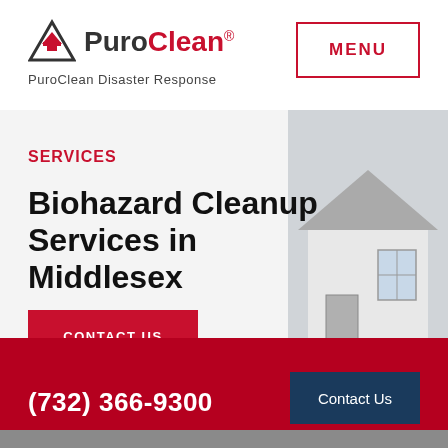[Figure (logo): PuroClean logo with triangle icon and red/black wordmark]
PuroClean Disaster Response
MENU
SERVICES
Biohazard Cleanup Services in Middlesex
CONTACT US
(732) 366-9300
Contact Us